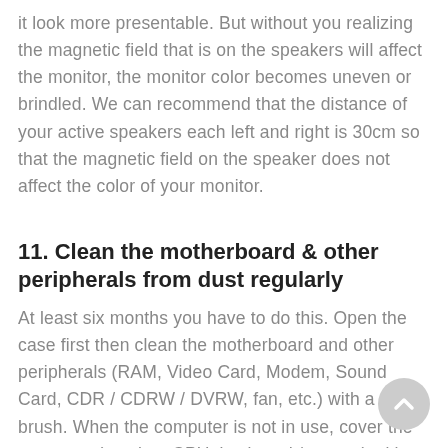it look more presentable. But without you realizing the magnetic field that is on the speakers will affect the monitor, the monitor color becomes uneven or brindled. We can recommend that the distance of your active speakers each left and right is 30cm so that the magnetic field on the speaker does not affect the color of your monitor.
11. Clean the motherboard & other peripherals from dust regularly
At least six months you have to do this. Open the case first then clean the motherboard and other peripherals (RAM, Video Card, Modem, Sound Card, CDR / CDRW / DVRW, fan, etc.) with a soft brush. When the computer is not in use, cover the computer (monitor, CPU, keyboard / mouse) with a cover so that